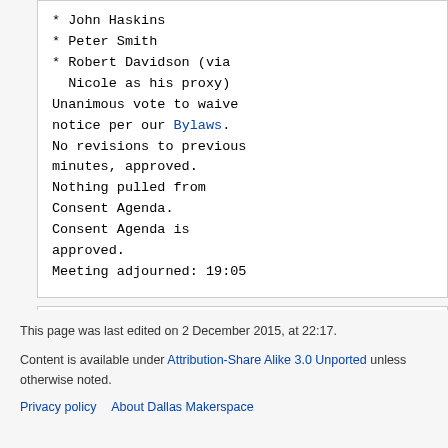* John Haskins
* Peter Smith
* Robert Davidson (via Nicole as his proxy)
Unanimous vote to waive notice per our Bylaws. No revisions to previous minutes, approved. Nothing pulled from Consent Agenda. Consent Agenda is approved. Meeting adjourned: 19:05
Category: 2013 Meetings
This page was last edited on 2 December 2015, at 22:17. Content is available under Attribution-Share Alike 3.0 Unported unless otherwise noted.
Privacy policy   About Dallas Makerspace